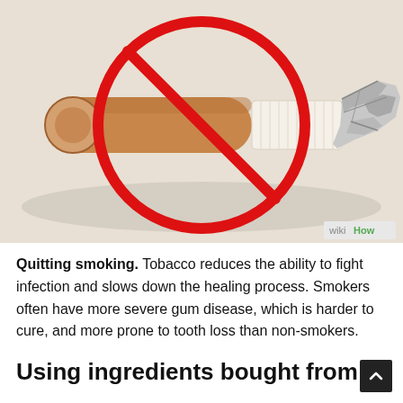[Figure (illustration): WikiHow-style illustration of a cigarette with a red 'no' symbol (circle with diagonal line through it) overlaid on it. Background is beige/tan. WikiHow watermark in bottom-right corner.]
Quitting smoking. Tobacco reduces the ability to fight infection and slows down the healing process. Smokers often have more severe gum disease, which is harder to cure, and more prone to tooth loss than non-smokers.
Using ingredients bought from